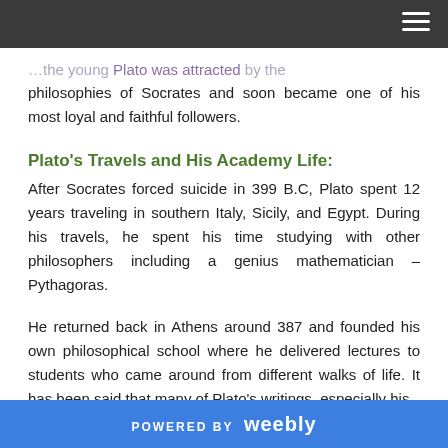[navigation bar with hamburger menu]
…the young Plato was attracted by the philosophies of Socrates and soon became one of his most loyal and faithful followers.
Plato's Travels and His Academy Life:
After Socrates forced suicide in 399 B.C, Plato spent 12 years traveling in southern Italy, Sicily, and Egypt. During his travels, he spent his time studying with other philosophers including a genius mathematician – Pythagoras.
He returned back in Athens around 387 and founded his own philosophical school where he delivered lectures to students who came around from different walks of life. It has been said that many of Plato's writings, especially his…
POWERED BY weebly